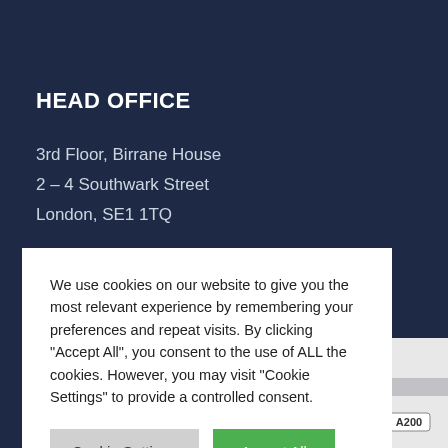HEAD OFFICE
3rd Floor, Birrane House
2 – 4 Southwark Street
London, SE1 1TQ
We use cookies on our website to give you the most relevant experience by remembering your preferences and repeat visits. By clicking "Accept All", you consent to the use of ALL the cookies. However, you may visit "Cookie Settings" to provide a controlled consent.
[Figure (map): Street map showing area near Southwark Street London with A200 road label visible]